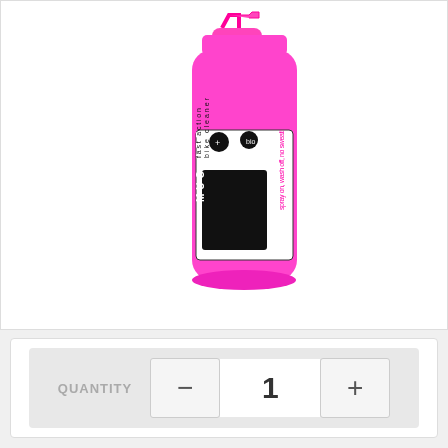[Figure (photo): Muc-Off fast action bike cleaner product in a pink spray bottle. The bottle is bright pink/magenta with a pink spray nozzle on top. The label shows 'Muc-Off' in a black and white sticker-style logo, with text 'fast action bike cleaner' and additional icons for biodegradable/safe use.]
QUANTITY  -  1  +